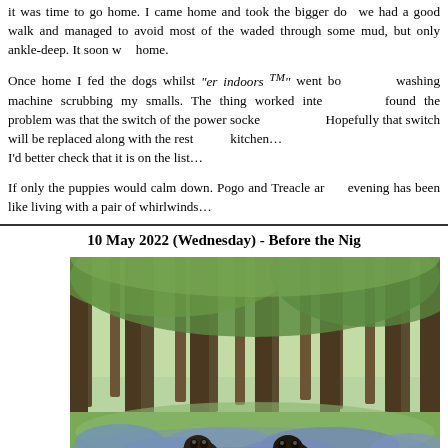it was time to go home. I came home and took the bigger dogs out, we had a good walk and managed to avoid most of the mud, but waded through some mud, but only ankle-deep. It soon was time to go home.

Once home I fed the dogs whilst "er indoors TM" went bossing the washing machine scrubbing my smalls. The thing worked intermittently. I found the problem was that the switch of the power socket was loose. Hopefully that switch will be replaced along with the rest of the kitchen…
I'd better check that it is on the list…

If only the puppies would calm down. Pogo and Treacle are… the evening has been like living with a pair of whirlwinds…
10 May 2022 (Wednesday) - Before the Nig...
[Figure (photo): Two dark-colored dogs sitting among bluebells in a woodland forest with tall trees and green foliage]